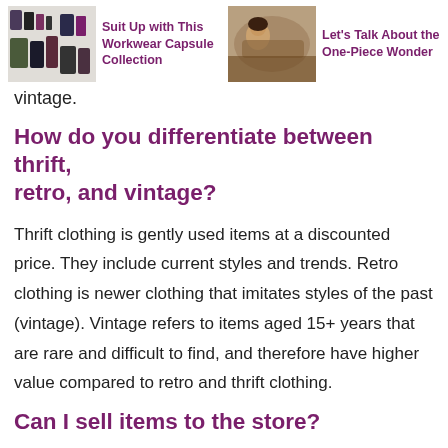Suit Up with This Workwear Capsule Collection | Let's Talk About the One-Piece Wonder
vintage.
How do you differentiate between thrift, retro, and vintage?
Thrift clothing is gently used items at a discounted price. They include current styles and trends. Retro clothing is newer clothing that imitates styles of the past (vintage). Vintage refers to items aged 15+ years that are rare and difficult to find, and therefore have higher value compared to retro and thrift clothing.
Can I sell items to the store?